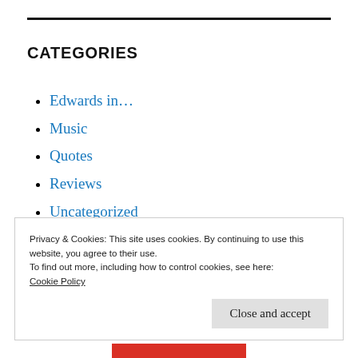CATEGORIES
Edwards in...
Music
Quotes
Reviews
Uncategorized
Privacy & Cookies: This site uses cookies. By continuing to use this website, you agree to their use.
To find out more, including how to control cookies, see here:
Cookie Policy
Close and accept